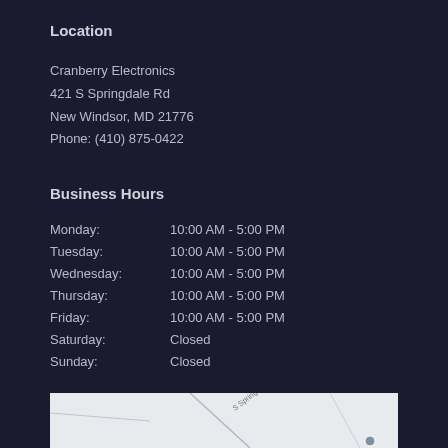Location
Cranberry Electronics
421 S Springdale Rd
New Windsor, MD 21776
Phone: (410) 875-0422
Business Hours
| Monday: | 10:00 AM - 5:00 PM |
| Tuesday: | 10:00 AM - 5:00 PM |
| Wednesday: | 10:00 AM - 5:00 PM |
| Thursday: | 10:00 AM - 5:00 PM |
| Friday: | 10:00 AM - 5:00 PM |
| Saturday: | Closed |
| Sunday: | Closed |
[Figure (map): Street map showing S Springdale Rd area near Cranberry Electronics in New Windsor, MD]